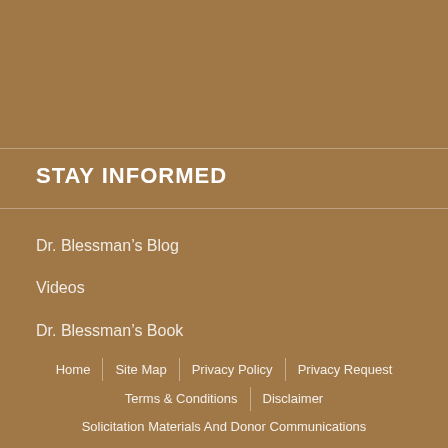STAY INFORMED
Dr. Blessman’s Blog
Videos
Dr. Blessman’s Book
Donate
Contact us
Home | Site Map | Privacy Policy | Privacy Request | Terms & Conditions | Disclaimer | Solicitation Materials And Donor Communications